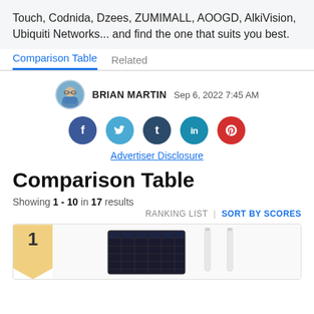Touch, Codnida, Dzees, ZUMIMALL, AOOGD, AlkiVision, Ubiquiti Networks... and find the one that suits you best.
Comparison Table | Related
BRIAN MARTIN Sep 6, 2022 7:45 AM
[Figure (other): Social media share buttons: Facebook, Twitter, Tumblr, LinkedIn, Pinterest]
Advertiser Disclosure
Comparison Table
Showing 1 - 10 in 17 results
RANKING LIST | SORT BY SCORES
[Figure (photo): Product card showing rank badge '1' and a solar panel product image with two white stakes/posts]